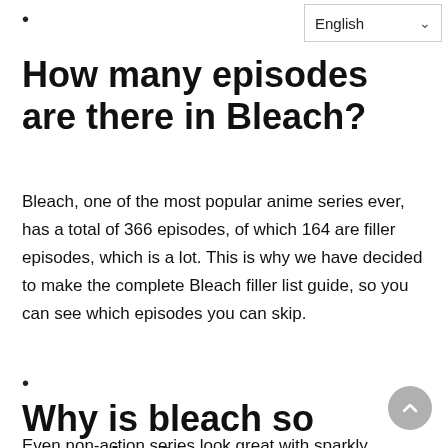•
How many episodes are there in Bleach?
Bleach, one of the most popular anime series ever, has a total of 366 episodes, of which 164 are filler episodes, which is a lot. This is why we have decided to make the complete Bleach filler list guide, so you can see which episodes you can skip.
•
Why is bleach so popular?
Even non-action series look great with sparkly